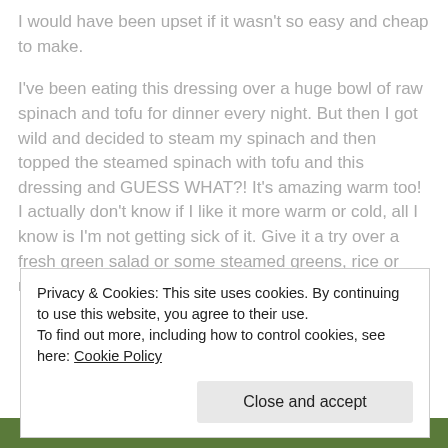I would have been upset if it wasn't so easy and cheap to make.
I've been eating this dressing over a huge bowl of raw spinach and tofu for dinner every night. But then I got wild and decided to steam my spinach and then topped the steamed spinach with tofu and this dressing and GUESS WHAT?! It's amazing warm too! I actually don't know if I like it more warm or cold, all I know is I'm not getting sick of it. Give it a try over a fresh green salad or some steamed greens, rice or noodles.
Privacy & Cookies: This site uses cookies. By continuing to use this website, you agree to their use.
To find out more, including how to control cookies, see here: Cookie Policy
[Figure (photo): Green salad or vegetables visible at bottom of page]